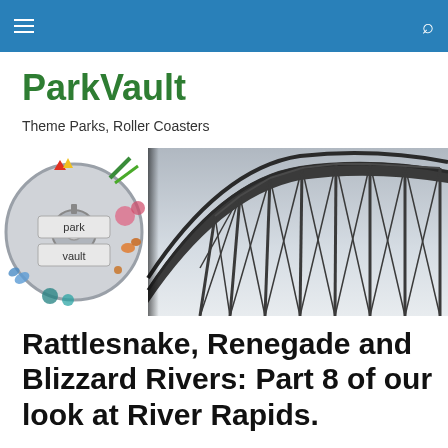ParkVault navigation bar
ParkVault
Theme Parks, Roller Coasters
[Figure (illustration): ParkVault logo on the left (circular illustration with park-themed icons, text 'park vault') alongside a black-and-white photo of a wooden roller coaster structure against a grey sky.]
Rattlesnake, Renegade and Blizzard Rivers: Part 8 of our look at River Rapids.